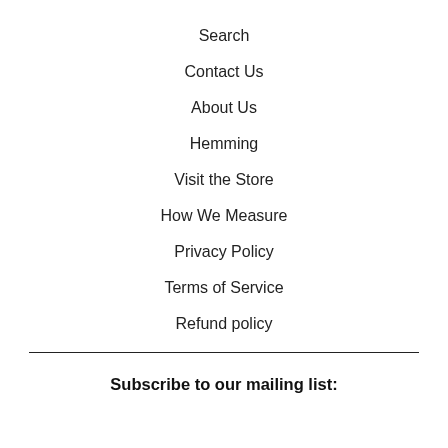Search
Contact Us
About Us
Hemming
Visit the Store
How We Measure
Privacy Policy
Terms of Service
Refund policy
Subscribe to our mailing list: